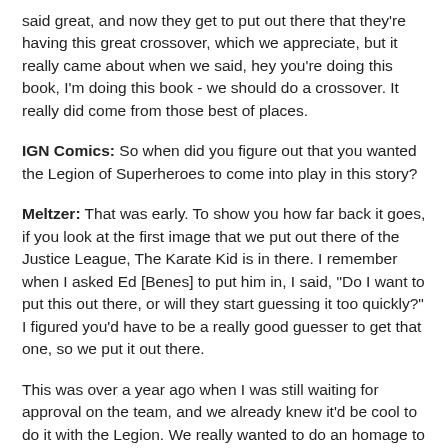said great, and now they get to put out there that they're having this great crossover, which we appreciate, but it really came about when we said, hey you're doing this book, I'm doing this book - we should do a crossover. It really did come from those best of places.
IGN Comics: So when did you figure out that you wanted the Legion of Superheroes to come into play in this story?
Meltzer: That was early. To show you how far back it goes, if you look at the first image that we put out there of the Justice League, The Karate Kid is in there. I remember when I asked Ed [Benes] to put him in, I said, "Do I want to put this out there, or will they start guessing it too quickly?" I figured you'd have to be a really good guesser to get that one, so we put it out there.
This was over a year ago when I was still waiting for approval on the team, and we already knew it'd be cool to do it with the Legion. We really wanted to do an homage to